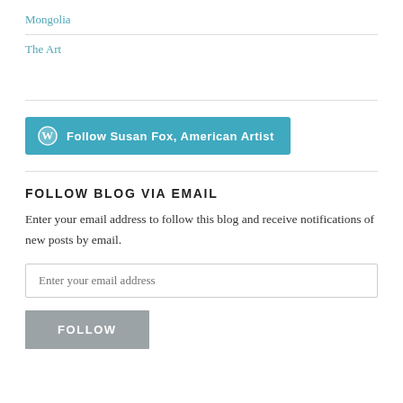Mongolia
The Art
[Figure (other): WordPress Follow button: 'Follow Susan Fox, American Artist']
FOLLOW BLOG VIA EMAIL
Enter your email address to follow this blog and receive notifications of new posts by email.
Enter your email address
FOLLOW